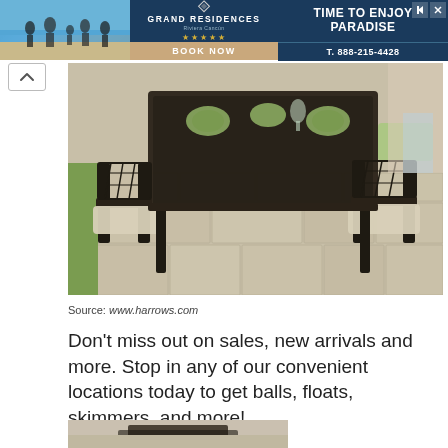[Figure (other): Advertisement banner for Grand Residences showing a beach family photo on the left, Grand Residences logo with stars in the center on dark blue background, 'Time to Enjoy Paradise' text on the right, with 'Book Now' and phone number T. 888-215-4428]
[Figure (photo): Outdoor patio dining set with dark cast-iron ornate chairs with beige cushions around a rectangular dining table set with green dishes and glassware, on a stone patio]
Source: www.harrows.com
Don't miss out on sales, new arrivals and more. Stop in any of our convenient locations today to get balls, floats, skimmers, and more!
[Figure (photo): Partial view of another outdoor furniture piece at the bottom of the page]